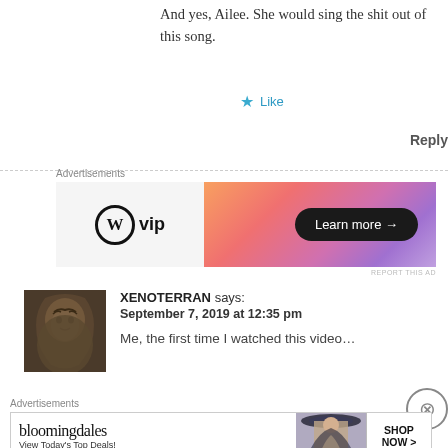And yes, Ailee. She would sing the shit out of this song.
★ Like
Reply
[Figure (infographic): WordPress VIP advertisement with gradient orange-pink-purple background and 'Learn more →' button]
REPORT THIS AD
[Figure (photo): Avatar/profile picture of XENOTERRAN - stylized face with textured skin]
XENOTERRAN says: September 7, 2019 at 12:35 pm
Me, the first time I watched this video…
[Figure (infographic): Bloomingdale's advertisement - 'View Today's Top Deals!' with SHOP NOW button and woman with hat image]
REPORT THIS AD